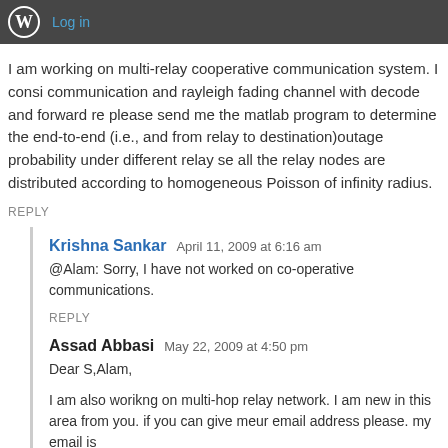Log in
I am working on multi-relay cooperative communication system. I consi communication and rayleigh fading channel with decode and forward re please send me the matlab program to determine the end-to-end (i.e., and from relay to destination)outage probability under different relay se all the relay nodes are distributed according to homogeneous Poisson of infinity radius.
REPLY
Krishna Sankar  April 11, 2009 at 6:16 am
@Alam: Sorry, I have not worked on co-operative communications.
REPLY
Assad Abbasi  May 22, 2009 at 4:50 pm
Dear S,Alam,

I am also worikng on multi-hop relay network. I am new in this area from you. if you can give meur email address please. my email is